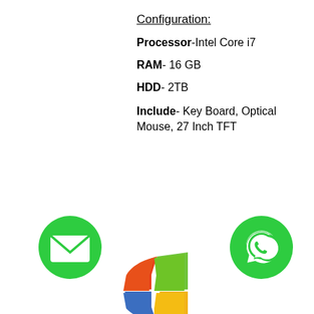Configuration:
Processor- Intel Core i7
RAM- 16 GB
HDD- 2TB
Include- Key Board, Optical Mouse, 27 Inch TFT
[Figure (logo): Green circle with white envelope icon (email button)]
[Figure (logo): Green circle with white WhatsApp icon]
[Figure (logo): Microsoft Windows XP logo - four colored panes (orange, green, blue, yellow)]